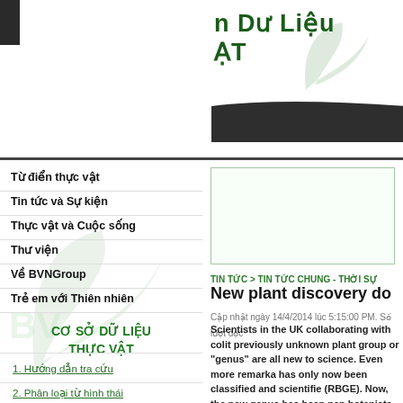n Dữ Liệu
ẠT
Từ điển thực vật
Tin tức và Sự kiện
Thực vật và Cuộc sống
Thư viện
Về BVNGroup
Trẻ em với Thiên nhiên
CƠ SỞ DỮ LIỆU
THỰC VẬT
1. Hướng dẫn tra cứu
2. Phân loại từ hình thái
[Figure (other): Empty bordered box placeholder for article image]
TIN TỨC > TIN TỨC CHUNG - THỜI SỰ
New plant discovery do
Cập nhật ngày 14/4/2014 lúc 5:15:00 PM. Số lượt đọc
Scientists in the UK collaborating with collab previously unknown plant group or "genus" are all new to science. Even more remarka has only now been classified and scientifie (RBGE). Now, the new genus has been nan botanists